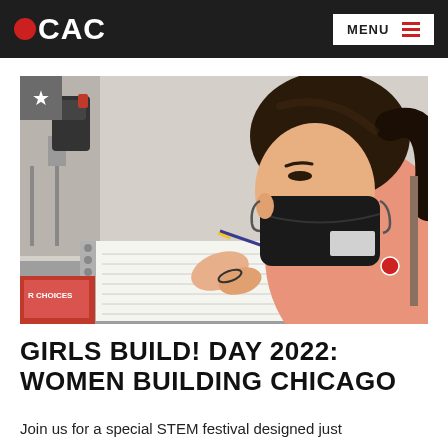CAC | MENU
[Figure (photo): A young girl wearing a black face mask and pink hoodie leans over a spiral notebook, writing with a pencil. A red binder is visible at bottom left. A star badge appears in the top-left corner of the photo.]
GIRLS BUILD! DAY 2022: WOMEN BUILDING CHICAGO
Join us for a special STEM festival designed just